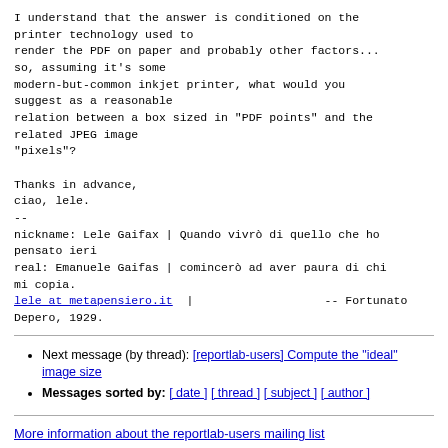I understand that the answer is conditioned on the printer technology used to
render the PDF on paper and probably other factors...
so, assuming it's some
modern-but-common inkjet printer, what would you suggest as a reasonable
relation between a box sized in "PDF points" and the related JPEG image
"pixels"?

Thanks in advance,
ciao, lele.
--
nickname: Lele Gaifax | Quando vivrò di quello che ho pensato ieri
real: Emanuele Gaifas | comincerò ad aver paura di chi mi copia.
lele at metapensiero.it  |                    -- Fortunato Depero, 1929.
Next message (by thread): [reportlab-users] Compute the "ideal" image size
Messages sorted by: [ date ] [ thread ] [ subject ] [ author ]
More information about the reportlab-users mailing list